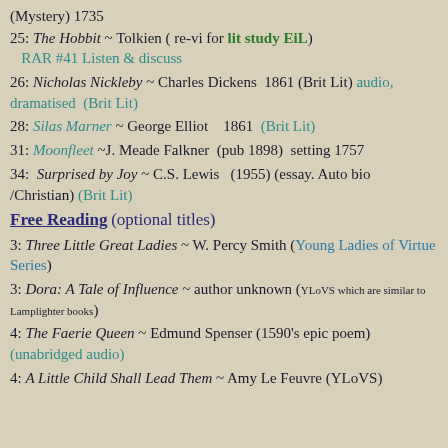(Mystery) 1735
25: The Hobbit ~ Tolkien ( re-vi for lit study EiL) RAR #41 Listen & discuss
26: Nicholas Nickleby ~ Charles Dickens  1861 (Brit Lit) audio, dramatised  (Brit Lit)
28: Silas Marner ~ George Elliot   1861  (Brit Lit)
31: Moonfleet ~J. Meade Falkner  (pub 1898)  setting 1757
34:  Surprised by Joy ~ C.S. Lewis   (1955) (essay. Auto bio /Christian) (Brit Lit)
Free Reading (optional titles)
3: Three Little Great Ladies ~ W. Percy Smith (Young Ladies of Virtue Series)
3: Dora: A Tale of Influence ~ author unknown (YLoVS which are similar to Lamplighter books)
4: The Faerie Queen ~ Edmund Spenser (1590's epic poem)   (unabridged audio)
4: A Little Child Shall Lead Them ~ Amy Le Feuvre (YLoVS)